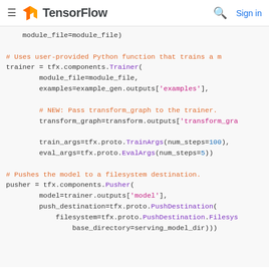TensorFlow  Sign in
module_file=module_file)

# Uses user-provided Python function that trains a m
trainer = tfx.components.Trainer(
    module_file=module_file,
    examples=example_gen.outputs['examples'],

    # NEW: Pass transform_graph to the trainer.
    transform_graph=transform.outputs['transform_gra

    train_args=tfx.proto.TrainArgs(num_steps=100),
    eval_args=tfx.proto.EvalArgs(num_steps=5))

# Pushes the model to a filesystem destination.
pusher = tfx.components.Pusher(
    model=trainer.outputs['model'],
    push_destination=tfx.proto.PushDestination(
        filesystem=tfx.proto.PushDestination.Filesys
            base_directory=serving_model_dir)))